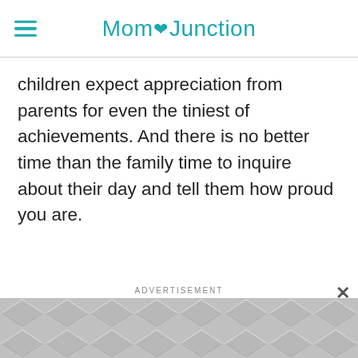MomJunction
children expect appreciation from parents for even the tiniest of achievements. And there is no better time than the family time to inquire about their day and tell them how proud you are.
[Figure (other): Advertisement banner with geometric hexagonal/diamond pattern in grey tones]